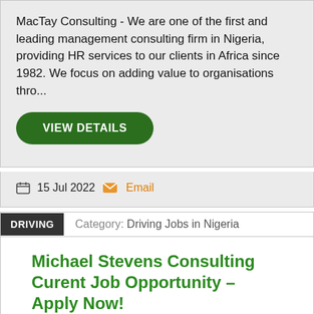MacTay Consulting - We are one of the first and leading management consulting firm in Nigeria, providing HR services to our clients in Africa since 1982. We focus on adding value to organisations thro...
VIEW DETAILS
15 Jul 2022  Email
DRIVING   Category: Driving Jobs in Nigeria
Michael Stevens Consulting Curent Job Opportunity – Apply Now!
Michael Stevens Consulting is a Management consulting company, whose focus has been on rendering the following services: Training